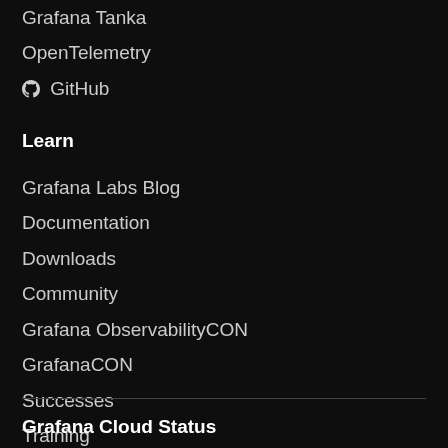Grafana Tanka
OpenTelemetry
GitHub
Learn
Grafana Labs Blog
Documentation
Downloads
Community
Grafana ObservabilityCON
GrafanaCON
Successes
Training
Videos
Grafana Cloud Status